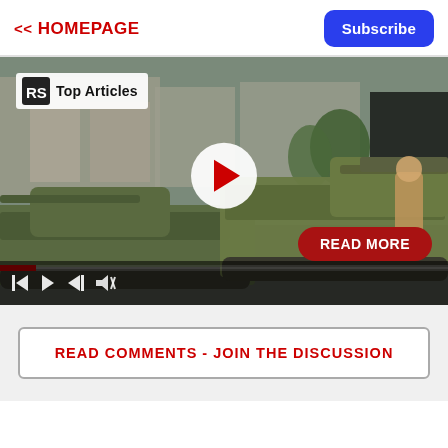<< HOMEPAGE
Subscribe
[Figure (screenshot): Video player showing military tanks in a city square. Overlay badge reads 'RS Top Articles'. A white circular play button with red triangle is centered. A red 'READ MORE' button appears bottom right. Video controls with skip, play, skip-forward, and mute icons are at the bottom.]
READ COMMENTS - JOIN THE DISCUSSION